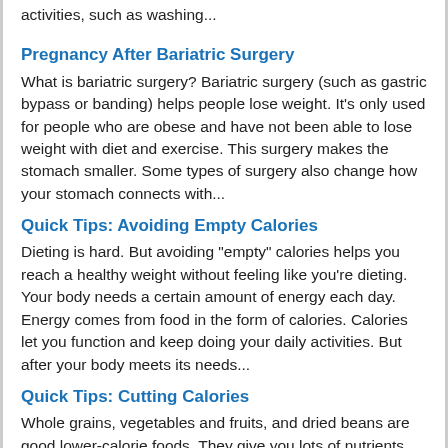activities, such as washing...
Pregnancy After Bariatric Surgery
What is bariatric surgery? Bariatric surgery (such as gastric bypass or banding) helps people lose weight. It's only used for people who are obese and have not been able to lose weight with diet and exercise. This surgery makes the stomach smaller. Some types of surgery also change how your stomach connects with...
Quick Tips: Avoiding Empty Calories
Dieting is hard. But avoiding "empty" calories helps you reach a healthy weight without feeling like you're dieting. Your body needs a certain amount of energy each day. Energy comes from food in the form of calories. Calories let you function and keep doing your daily activities. But after your body meets its needs...
Quick Tips: Cutting Calories
Whole grains, vegetables and fruits, and dried beans are good lower-calorie foods. They give you lots of nutrients and fiber. And they fill you up. Sweets, energy drinks, and soda pop are high in calories. They give you few nutrients and no fiber. Try to limit soda pop, fruit juice, and energy drinks...